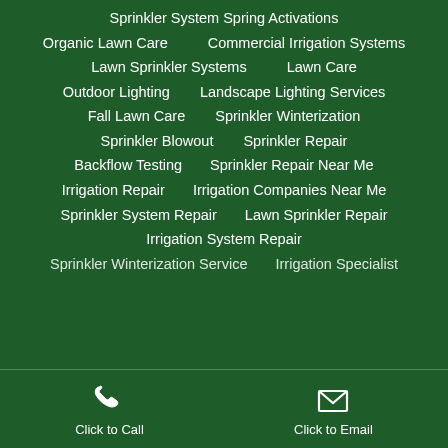Sprinkler System Spring Activations
Organic Lawn Care
Commercial Irrigation Systems
Lawn Sprinkler Systems
Lawn Care
Outdoor Lighting
Landscape Lighting Services
Fall Lawn Care
Sprinkler Winterization
Sprinkler Blowout
Sprinkler Repair
Backflow Testing
Sprinkler Repair Near Me
Irrigation Repair
Irrigation Companies Near Me
Sprinkler System Repair
Lawn Sprinkler Repair
Irrigation System Repair
Sprinkler Winterization Service
Irrigation Specialist
Click to Call
Click to Email